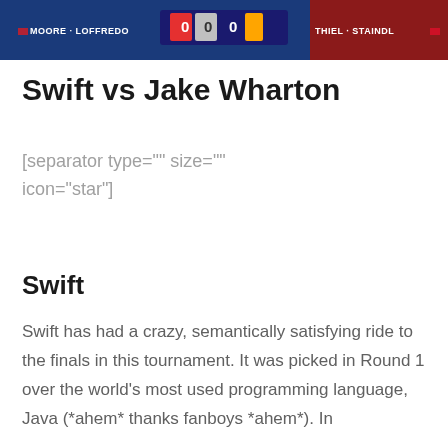[Figure (screenshot): A sports broadcast screenshot showing a scoreboard with 'MOORE-LOFFREDO' on the left and 'THIEL-STAINDL' on the right, with a score display in the center against a blue and red background.]
Swift vs Jake Wharton
[separator type="" size="" icon="star"]
Swift
Swift has had a crazy, semantically satisfying ride to the finals in this tournament. It was picked in Round 1 over the world's most used programming language, Java (*ahem* thanks fanboys *ahem*). In